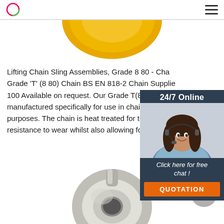Logo and navigation menu
[Figure (photo): Partial view of a gold/yellow round object at the top of the page]
Lifting Chain Sling Assemblies, Grade 8 80 - Cha... Grade 'T' (8 80) Chain BS EN 818-2 Chain Supplie... 100 Available on request. Our Grade T(8) Alloy S... manufactured specifically for use in chain slings... purposes. The chain is heat treated for tensile s... resistance to wear whilst also allowing for shock...
[Figure (photo): 24/7 Online chat widget with woman wearing headset, dark blue background, orange QUOTATION button]
[Figure (other): Green Get Price button]
[Figure (photo): Partial view of a metal eye bolt / ring component at the bottom of the page]
[Figure (other): Gray circular scroll-to-top button with upward chevron icon]